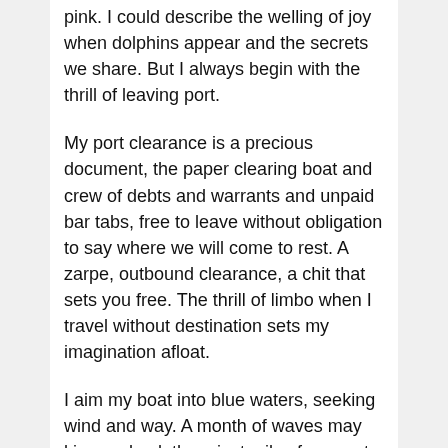pink. I could describe the welling of joy when dolphins appear and the secrets we share. But I always begin with the thrill of leaving port.
My port clearance is a precious document, the paper clearing boat and crew of debts and warrants and unpaid bar tabs, free to leave without obligation to say where we will come to rest. A zarpe, outbound clearance, a chit that sets you free. The thrill of limbo when I travel without destination sets my imagination afloat.
I aim my boat into blue waters, seeking wind and way. A month of waves may kiss my keel, then, just miles from port, I gybe away. To another coast, a friendlier nation, somewhere downwind from here. Perhaps I'll never return, never arrive, betwixt and between, alone at sea. I'll sail in circles, north to the pole, south to the ice, east and then west until land stands in the way. I could if I wanted to.
When the wind blows hard from the north, we aim for